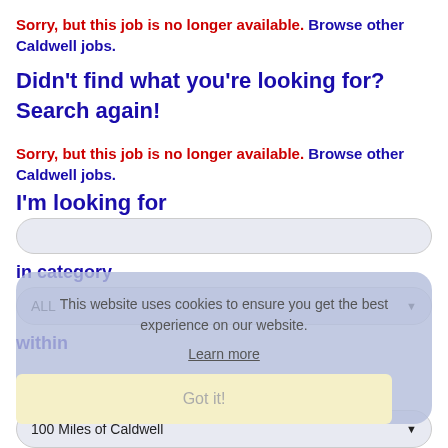Sorry, but this job is no longer available. Browse other Caldwell jobs.
Didn't find what you're looking for? Search again!
Sorry, but this job is no longer available. Browse other Caldwell jobs.
I'm looking for
in category
ALL
within
This website uses cookies to ensure you get the best experience on our website.
Learn more
Got it!
100 Miles of Caldwell